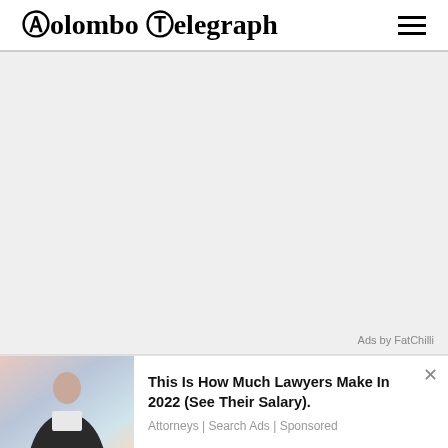Colombo Telegraph
[Figure (other): Gray advertisement placeholder area with 'Ads by FatChilli' label at bottom right]
[Figure (photo): Photo of a smiling woman in business attire standing in an urban setting]
This Is How Much Lawyers Make In 2022 (See Their Salary).
Attorneys | Search Ads | Sponsored